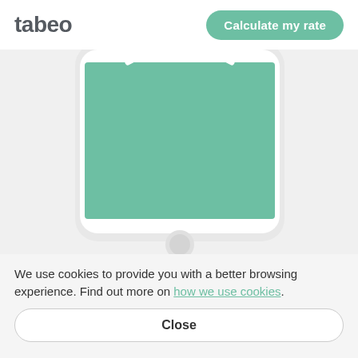tabeo
[Figure (illustration): A smartphone device illustration with a rounded white rectangle frame, displaying a teal/green rectangle filling the screen, with a white semi-circular arc at the top of the green area suggesting a shirt neckline or similar shape. Below the screen is a circular home button.]
We use cookies to provide you with a better browsing experience. Find out more on how we use cookies.
Close